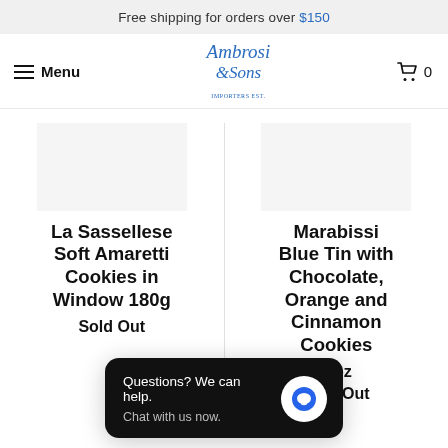Free shipping for orders over $150
Menu | Ambrosi & Sons | 0
La Sassellese Soft Amaretti Cookies in Window 180g
Sold Out
Marabissi Blue Tin with Chocolate, Orange and Cinnamon Cookies
...oz
Sold Out
Questions? We can help. Chat with us now.